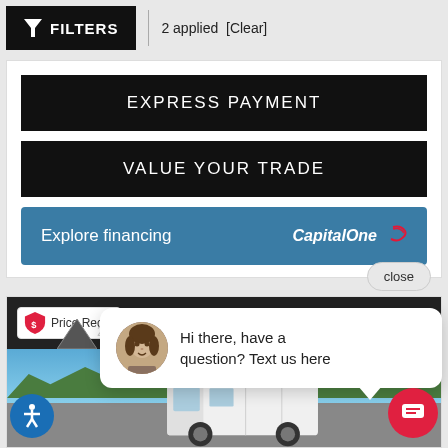FILTERS | 2 applied [Clear]
EXPRESS PAYMENT
VALUE YOUR TRADE
Explore financing — Capital One
close
Price Redu... 205...
[Figure (photo): White cargo van parked outdoors with trees and blue sky in background]
Hi there, have a question? Text us here